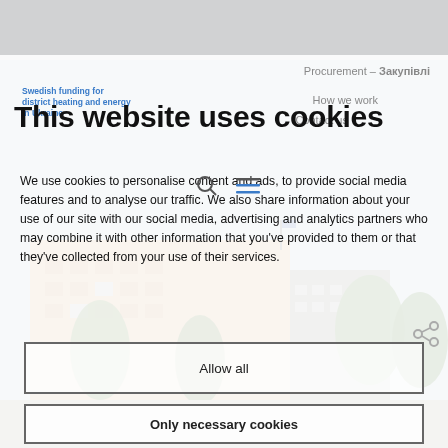Procurement – Закупівлі
Swedish funding for district heating and energy in Ukraine
How we work
Contact us
This website uses cookies
We use cookies to personalise content and ads, to provide social media features and to analyse our traffic. We also share information about your use of our site with our social media, advertising and analytics partners who may combine it with other information that you've provided to them or that they've collected from your use of their services.
Allow all
Only necessary cookies